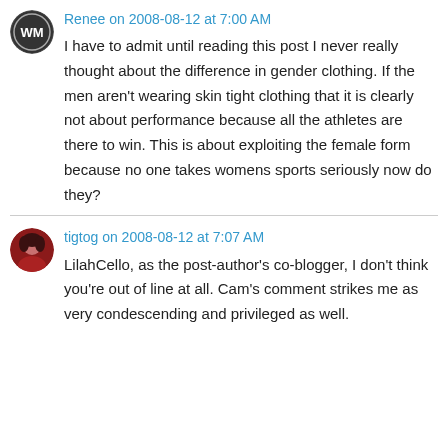Renee on 2008-08-12 at 7:00 AM
I have to admit until reading this post I never really thought about the difference in gender clothing. If the men aren't wearing skin tight clothing that it is clearly not about performance because all the athletes are there to win. This is about exploiting the female form because no one takes womens sports seriously now do they?
tigtog on 2008-08-12 at 7:07 AM
LilahCello, as the post-author's co-blogger, I don't think you're out of line at all. Cam's comment strikes me as very condescending and privileged as well.